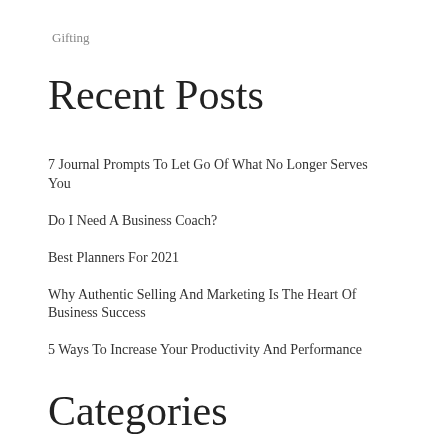Gifting
Recent Posts
7 Journal Prompts To Let Go Of What No Longer Serves You
Do I Need A Business Coach?
Best Planners For 2021
Why Authentic Selling And Marketing Is The Heart Of Business Success
5 Ways To Increase Your Productivity And Performance
Categories